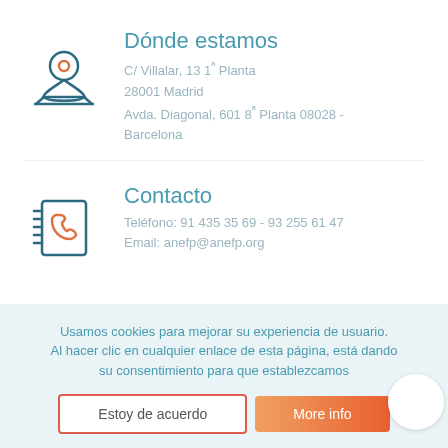[Figure (illustration): Location pin / map icon in teal/dark blue outline style with orange circle center]
Dónde estamos
C/ Villalar, 13 1ª Planta
28001 Madrid
Avda. Diagonal, 601 8ª Planta 08028 - Barcelona
[Figure (illustration): Phone/address book icon in teal/dark blue outline style with orange telephone handset]
Contacto
Teléfono: 91 435 35 69 - 93 255 61 47
Email: anefp@anefp.org
Usamos cookies para mejorar su experiencia de usuario. Al hacer clic en cualquier enlace de esta página, está dando su consentimiento para que establezcamos
Estoy de acuerdo
More info